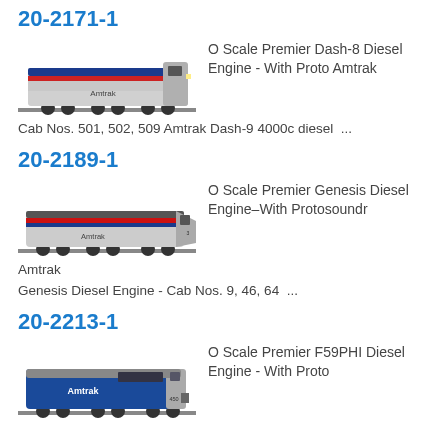20-2171-1
[Figure (photo): O Scale model train - Amtrak Dash-8 locomotive, silver with red and blue stripes]
O Scale Premier Dash-8 Diesel Engine - With Proto Amtrak
Cab Nos. 501, 502, 509 Amtrak Dash-9 4000c diesel  ...
20-2189-1
[Figure (photo): O Scale model train - Amtrak Genesis locomotive, silver with red and blue stripes]
O Scale Premier Genesis Diesel Engine–With Protosoundr
Amtrak
Genesis Diesel Engine - Cab Nos. 9, 46, 64  ...
20-2213-1
[Figure (photo): O Scale model train - Amtrak F59PHI locomotive, blue with silver]
O Scale Premier F59PHI Diesel Engine - With Proto